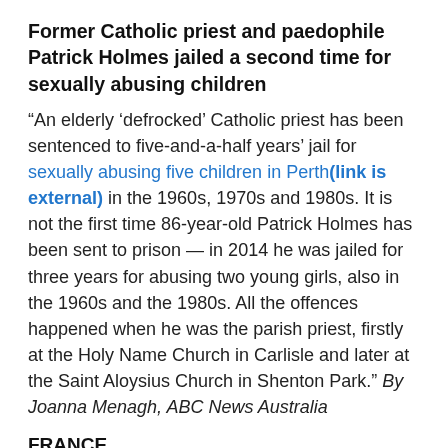Former Catholic priest and paedophile Patrick Holmes jailed a second time for sexually abusing children
“An elderly ‘defrocked’ Catholic priest has been sentenced to five-and-a-half years’ jail for sexually abusing five children in Perth(link is external) in the 1960s, 1970s and 1980s. It is not the first time 86-year-old Patrick Holmes has been sent to prison — in 2014 he was jailed for three years for abusing two young girls, also in the 1960s and the 1980s. All the offences happened when he was the parish priest, firstly at the Holy Name Church in Carlisle and later at the Saint Aloysius Church in Shenton Park.” By Joanna Menagh, ABC News Australia
FRANCE
French Catholic clergy may have abused at least 10,000...